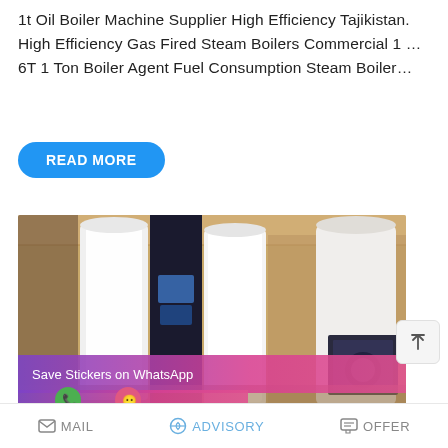1t Oil Boiler Machine Supplier High Efficiency Tajikistan. High Efficiency Gas Fired Steam Boilers Commercial 1 … 6T 1 Ton Boiler Agent Fuel Consumption Steam Boiler…
READ MORE
[Figure (photo): Industrial warehouse with white cylindrical boiler units and machinery on the factory floor. A WhatsApp sticker save banner overlays the bottom portion.]
MAIL   ADVISORY   OFFER